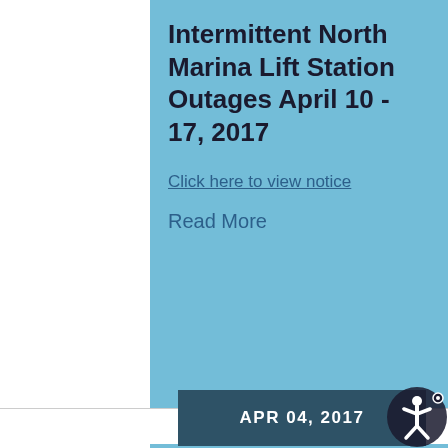Intermittent North Marina Lift Station Outages April 10 - 17, 2017
Click here to view notice
Read More
APR 04, 2017
Road Closure Advisory for Everett Half Marathon on Sunday, April 9, 2017
Road Closure Advisory f
Everett Half Marathon